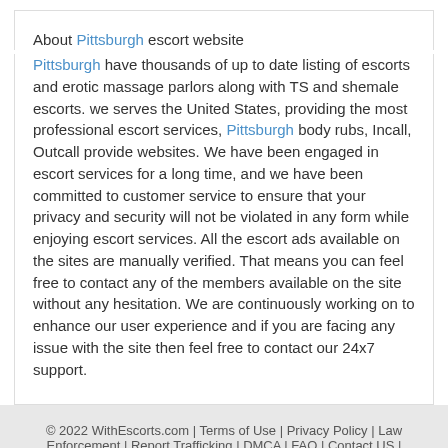About Pittsburgh escort website
Pittsburgh have thousands of up to date listing of escorts and erotic massage parlors along with TS and shemale escorts. we serves the United States, providing the most professional escort services, Pittsburgh body rubs, Incall, Outcall provide websites. We have been engaged in escort services for a long time, and we have been committed to customer service to ensure that your privacy and security will not be violated in any form while enjoying escort services. All the escort ads available on the sites are manually verified. That means you can feel free to contact any of the members available on the site without any hesitation. We are continuously working on to enhance our user experience and if you are facing any issue with the site then feel free to contact our 24x7 support.
© 2022 WithEscorts.com | Terms of Use | Privacy Policy | Law Enforcement | Report Trafficking | DMCA | FAQ | Contact US | BLOG